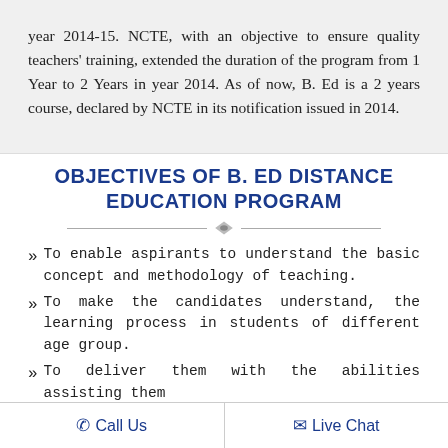year 2014-15. NCTE, with an objective to ensure quality teachers' training, extended the duration of the program from 1 Year to 2 Years in year 2014. As of now, B. Ed is a 2 years course, declared by NCTE in its notification issued in 2014.
OBJECTIVES OF B. ED DISTANCE EDUCATION PROGRAM
To enable aspirants to understand the basic concept and methodology of teaching.
To make the candidates understand, the learning process in students of different age group.
To deliver them with the abilities assisting them
Call Us   Live Chat